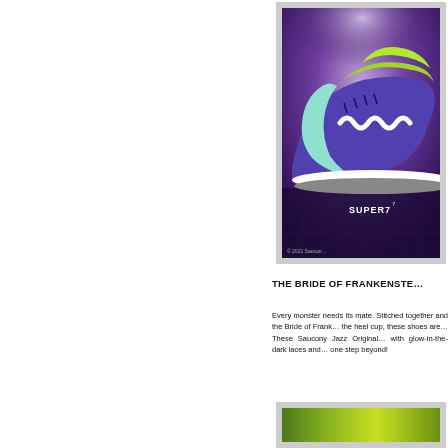[Figure (photo): Close-up photo of a green and purple Saucony Jazz sneaker with white zigzag detail and stitching accents, on a purple/dark background. Super7 logo visible in bottom right corner. Copyright 2021 Saucony watermark.]
THE BRIDE OF FRANKENSTE…
Every monster needs its mate. Stitched together and the Bride of Frank… the heel cup, these shoes are… These Saucony Jazz Original… with glow-in-the-dark laces and… one step beyond!
[Figure (photo): Partial view of green/yellow sneaker at bottom of page.]